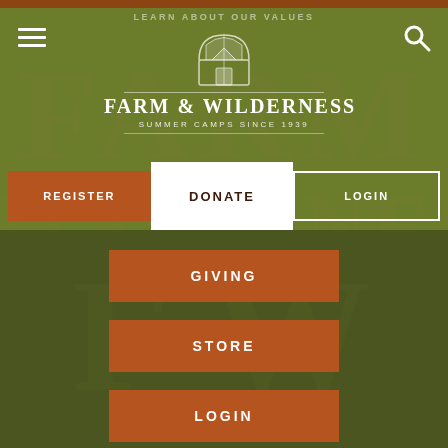[Figure (screenshot): Farm & Wilderness Summer Camps website screenshot showing navigation header with logo, Register/Donate/Login buttons, and lower navigation with Giving/Store/Login menu items on dark green background]
LEARN ABOUT OUR VALUES
FARM & WILDERNESS
SUMMER CAMPS SINCE 1939
REGISTER
DONATE
LOGIN
GIVING
STORE
LOGIN